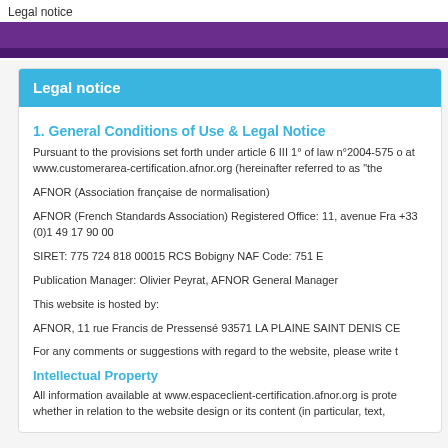Legal notice
Legal notice
1. General Conditions of Use & Legal Notice
Pursuant to the provisions set forth under article 6 III 1° of law n°2004-575 o at www.customerarea-certification.afnor.org (hereinafter referred to as "the
AFNOR (Association française de normalisation)
AFNOR (French Standards Association) Registered Office: 11, avenue Fra +33 (0)1 49 17 90 00
SIRET: 775 724 818 00015 RCS Bobigny NAF Code: 751 E
Publication Manager: Olivier Peyrat, AFNOR General Manager
This website is hosted by:
AFNOR, 11 rue Francis de Pressensé 93571 LA PLAINE SAINT DENIS CE
For any comments or suggestions with regard to the website, please write t
Intellectual Property
All information available at www.espaceclient-certification.afnor.org is prote whether in relation to the website design or its content (in particular, text,